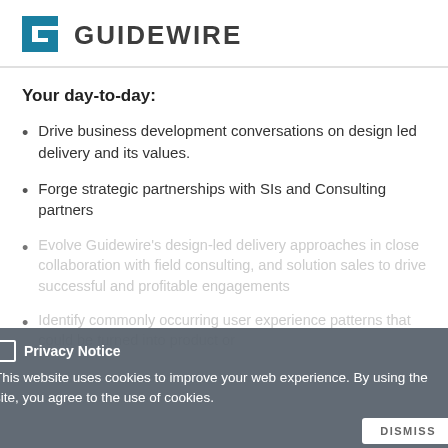[Figure (logo): Guidewire logo: teal/blue stylized G bracket icon followed by 'GUIDEWIRE' in dark gray sans-serif text]
Your day-to-day:
Drive business development conversations on design led delivery and its values.
Forge strategic partnerships with SIs and Consulting partners
Evolve Guidewire's design-led delivery approaches in close collaboration with field consulting, and solution sales to drive successful and profitable engagements
Identify commonly occurring user experience patterns that could be turned into product or
Privacy Notice
This website uses cookies to improve your web experience. By using the site, you agree to the use of cookies.